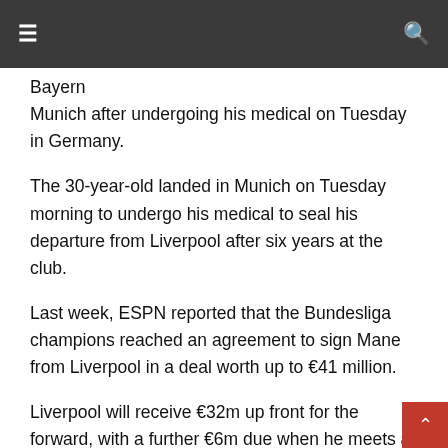≡    🔍
Bayern Munich after undergoing his medical on Tuesday in Germany.
The 30-year-old landed in Munich on Tuesday morning to undergo his medical to seal his departure from Liverpool after six years at the club.
Last week, ESPN reported that the Bundesliga champions reached an agreement to sign Mane from Liverpool in a deal worth up to €41 million.
Liverpool will receive €32m up front for the forward, with a further €6m due when he meets a specified appearance clause and an additional €3m based on individual and team achievements.
Mane was spotted wearing a Bayern training jersey on Tuesday as he sets his sights on a new journey in the